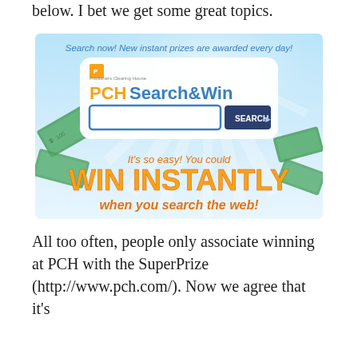below. I bet we get some great topics.
[Figure (screenshot): PCH Search & Win advertisement banner showing a search box with 'SEARCH' button, text 'Search now! New instant prizes are awarded every day!', 'It's so easy! You could WIN INSTANTLY when you search the web!']
All too often, people only associate winning at PCH with the SuperPrize (http://www.pch.com/). Now we agree that it's